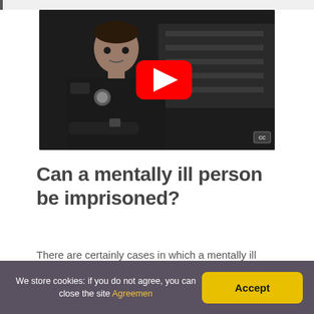[Figure (screenshot): YouTube video thumbnail showing a police officer in uniform seated in what appears to be a classroom or briefing room, with a red YouTube play button overlay in the center. A CC badge appears in the bottom right corner.]
Can a mentally ill person be imprisoned?
There are certainly cases in which a mentally ill individual who commits a crime is sent to prison
We store cookies: if you do not agree, you can close the site Agreemen  Accept